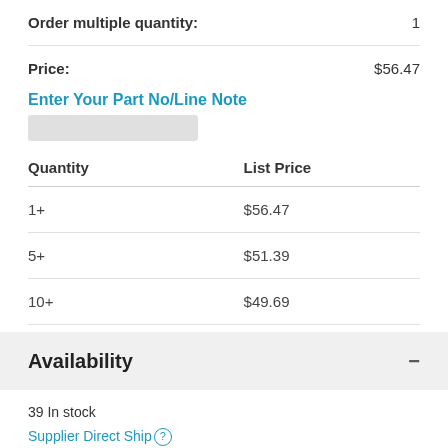Order multiple quantity: 1
Price: $56.47
Enter Your Part No/Line Note
| Quantity | List Price |
| --- | --- |
| 1+ | $56.47 |
| 5+ | $51.39 |
| 10+ | $49.69 |
| 25+ | $47.42 |
Availability
39 In stock
Supplier Direct Ship